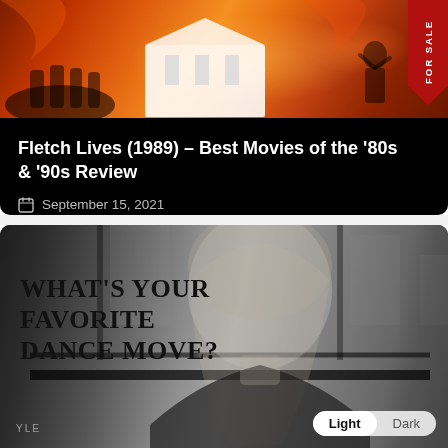[Figure (screenshot): Movie poster banner with fiery orange/red background showing stylized action scene with figures and a white building]
Fletch Lives (1989) – Best Movies of the '80s & '90s Review
September 15, 2021
[Figure (photo): Black and white photo of a smiling young woman with long blonde hair, with overlaid text reading WHAT'S YOUR FAVORITE DANCE MOVE?]